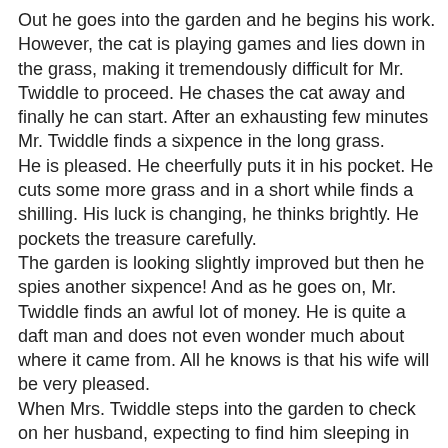Out he goes into the garden and he begins his work. However, the cat is playing games and lies down in the grass, making it tremendously difficult for Mr. Twiddle to proceed. He chases the cat away and finally he can start. After an exhausting few minutes Mr. Twiddle finds a sixpence in the long grass.
He is pleased. He cheerfully puts it in his pocket. He cuts some more grass and in a short while finds a shilling. His luck is changing, he thinks brightly. He pockets the treasure carefully.
The garden is looking slightly improved but then he spies another sixpence! And as he goes on, Mr. Twiddle finds an awful lot of money. He is quite a daft man and does not even wonder much about where it came from. All he knows is that his wife will be very pleased.
When Mrs. Twiddle steps into the garden to check on her husband, expecting to find him sleeping in the long grass, perhaps, she instead finds him beaming. He tells her about his afternoon gathering enormous amounts of money.
And this is the part that struck me:
He says, "we might perhaps buy a chicken for our dinner."
That was a world in which two people would consider it a